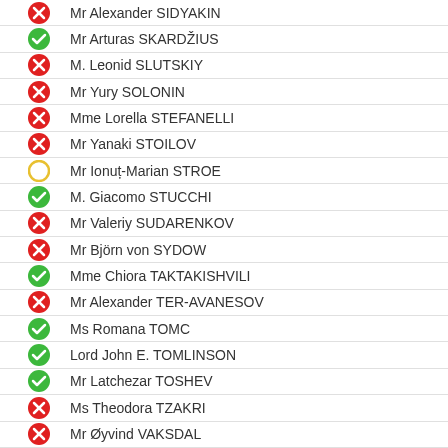Mr Alexander SIDYAKIN
Mr Arturas SKARDŽIUS
M. Leonid SLUTSKIY
Mr Yury SOLONIN
Mme Lorella STEFANELLI
Mr Yanaki STOILOV
Mr Ionuț-Marian STROE
M. Giacomo STUCCHI
Mr Valeriy SUDARENKOV
Mr Björn von SYDOW
Mme Chiora TAKTAKISHVILI
Mr Alexander TER-AVANESOV
Ms Romana TOMC
Lord John E. TOMLINSON
Mr Latchezar TOSHEV
Ms Theodora TZAKRI
Mr Øyvind VAKSDAL